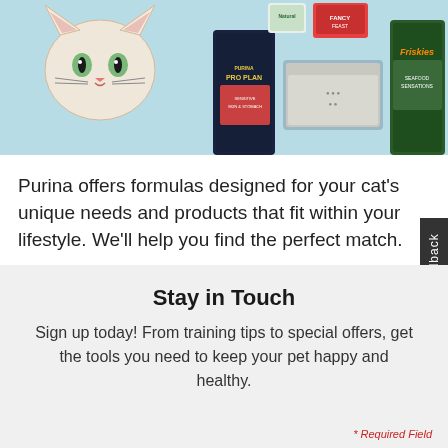[Figure (photo): Top banner showing Purina cat products including Pro Plan bag, litter box, and Friskies products on a light blue background with a cat face visible]
Purina offers formulas designed for your cat's unique needs and products that fit within your lifestyle. We'll help you find the perfect match.
CAT FOOD SELECTOR
Stay in Touch
Sign up today! From training tips to special offers, get the tools you need to keep your pet happy and healthy.
* Required Field